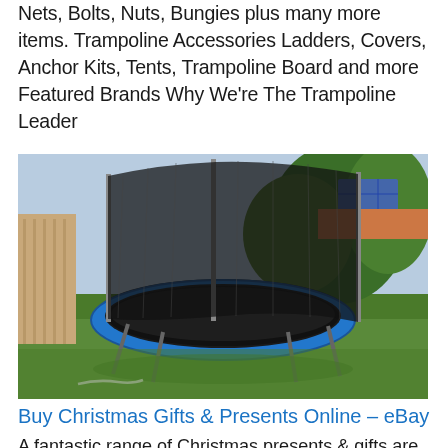Nets, Bolts, Nuts, Bungies plus many more items. Trampoline Accessories Ladders, Covers, Anchor Kits, Tents, Trampoline Board and more Featured Brands Why We're The Trampoline Leader
[Figure (photo): A round trampoline with a black safety net enclosure and blue spring pad cover, set up on a green lawn in a backyard garden. Metal poles support the safety net. Trees and a fence are visible in the background.]
Buy Christmas Gifts & Presents Online – eBay
A fantastic range of Christmas presents & gifts are available now at eBay.com.au. Choose from our